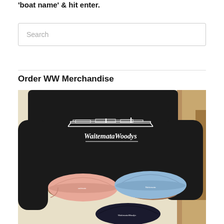'boat name' & hit enter.
Search
Order WW Merchandise
[Figure (photo): Person wearing a black Waitemata Woodys sweatshirt holding three caps: a pink cap, a light blue cap, and a dark navy cap, all with Waitemata Woodys branding. Wooden shelving visible in background.]